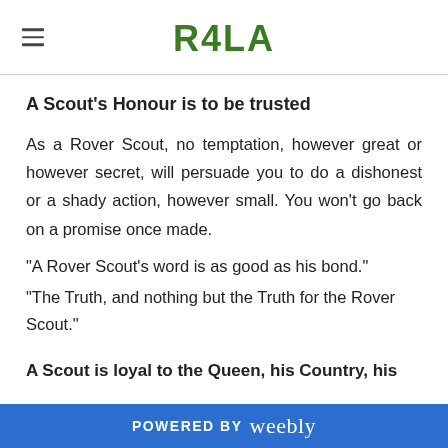R4LA
A Scout's Honour is to be trusted
As a Rover Scout, no temptation, however great or however secret, will persuade you to do a dishonest or a shady action, however small. You won't go back on a promise once made.
"A Rover Scout's word is as good as his bond."
"The Truth, and nothing but the Truth for the Rover Scout."
A Scout is loyal to the Queen, his Country, his
POWERED BY weebly